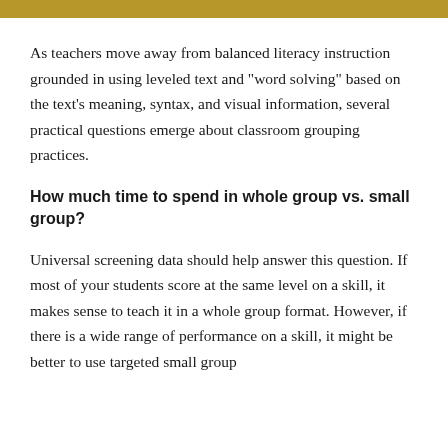As teachers move away from balanced literacy instruction grounded in using leveled text and "word solving" based on the text's meaning, syntax, and visual information, several practical questions emerge about classroom grouping practices.
How much time to spend in whole group vs. small group?
Universal screening data should help answer this question. If most of your students score at the same level on a skill, it makes sense to teach it in a whole group format. However, if there is a wide range of performance on a skill, it might be better to use targeted small group